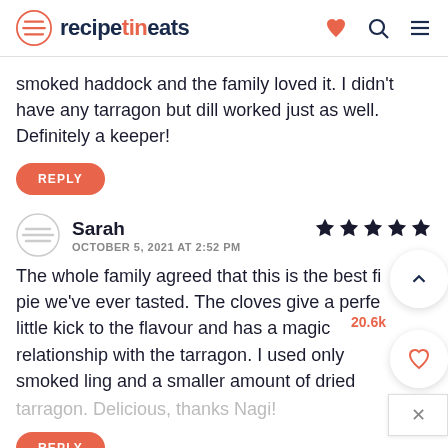recipetineats
smoked haddock and the family loved it. I didn't have any tarragon but dill worked just as well. Definitely a keeper!
REPLY
Sarah
OCTOBER 5, 2021 AT 2:52 PM
The whole family agreed that this is the best fish pie we've ever tasted. The cloves give a perfect little kick to the flavour and has a magic relationship with the tarragon. I used only smoked ling and a smaller amount of dried tarragon. Delicious, thanks Nagi!
REPLY